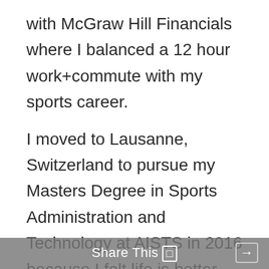with McGraw Hill Financials where I balanced a 12 hour work+commute with my sports career.

I moved to Lausanne, Switzerland to pursue my Masters Degree in Sports Administration and Technology at AISTS in 2016 because I felt life is better with sports in it and wanted to make my life about sports. In July 2017, I started working as a sports intern with Fédération Internationale De Hockey.

Being a single child my mother put me every hobby class there was and so I can draw, paint, play the piano, play the guitar (I was in a heavy metal band in college), sing a bit (was classically
Share This